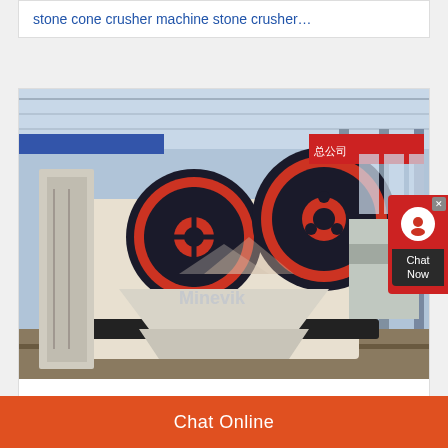stone cone crusher machine stone crusher…
[Figure (photo): Industrial jaw crusher machine (Minevik brand watermark) displayed on a factory floor with large red and black flywheels visible.]
stibnite hydrastroke feeders
Chat Online